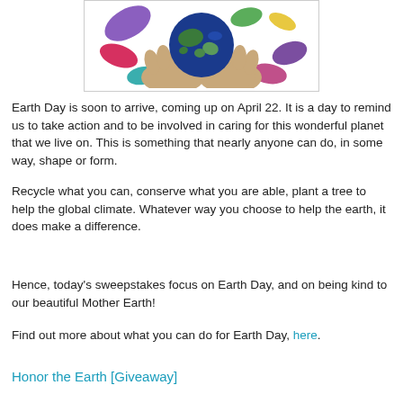[Figure (illustration): Colorful illustration of two hands cupping a dark blue Earth globe, surrounded by colorful leaf-like shapes in purple, red, green, yellow, and pink.]
Earth Day is soon to arrive, coming up on April 22. It is a day to remind us to take action and to be involved in caring for this wonderful planet that we live on. This is something that nearly anyone can do, in some way, shape or form.
Recycle what you can, conserve what you are able, plant a tree to help the global climate. Whatever way you choose to help the earth, it does make a difference.
Hence, today's sweepstakes focus on Earth Day, and on being kind to our beautiful Mother Earth!
Find out more about what you can do for Earth Day, here.
Honor the Earth [Giveaway]